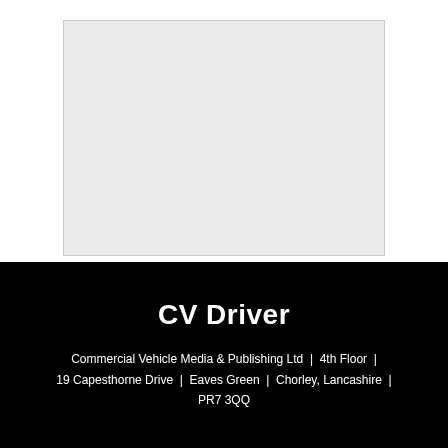[Figure (other): A large light grey/white rectangular image placeholder occupying the upper portion of the page]
CV Driver
Commercial Vehicle Media & Publishing Ltd  |  4th Floor  |  19 Capesthorne Drive  |  Eaves Green  |  Chorley, Lancashire  |  PR7 3QQ